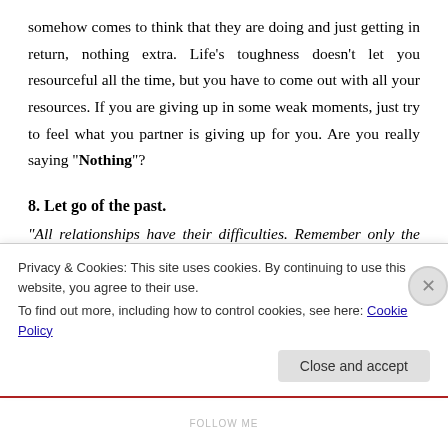somehow comes to think that they are doing and just getting in return, nothing extra. Life's toughness doesn't let you resourceful all the time, but you have to come out with all your resources. If you are giving up in some weak moments, just try to feel what you partner is giving up for you. Are you really saying "Nothing"?
8. Let go of the past.
“All relationships have their difficulties. Remember only the lessons learnt and forget the details. Weather the stormy
Privacy & Cookies: This site uses cookies. By continuing to use this website, you agree to their use.
To find out more, including how to control cookies, see here: Cookie Policy